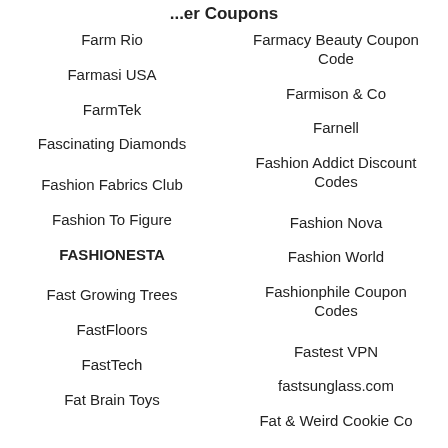...er Coupons
Farm Rio
Farmacy Beauty Coupon Code
Farmasi USA
Farmison & Co
FarmTek
Farnell
Fascinating Diamonds
Fashion Addict Discount Codes
Fashion Fabrics Club
Fashion Nova
Fashion To Figure
Fashion World
FASHIONESTA
Fashionphile Coupon Codes
Fast Growing Trees
Fastest VPN
FastFloors
fastsunglass.com
FastTech
Fat & Weird Cookie Co
Fat Brain Toys
Fat Buddha Store